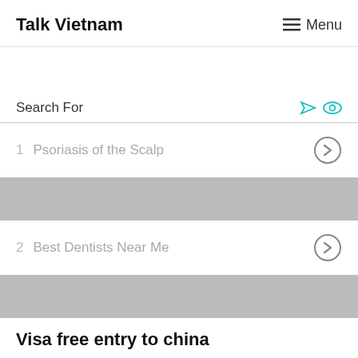Talk Vietnam  Menu
Search For
1  Psoriasis of the Scalp
[Figure (other): Gray advertisement placeholder block]
2  Best Dentists Near Me
[Figure (other): Gray advertisement placeholder block]
Visa free entry to china